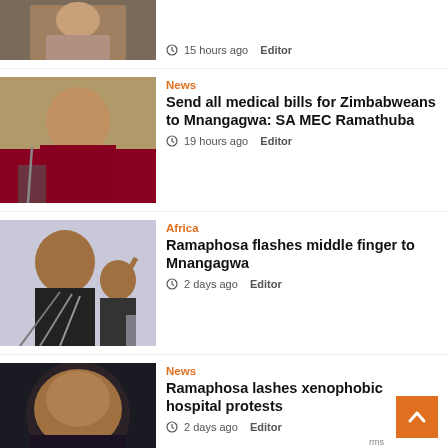[Figure (photo): Partial view of a person's face and upper body, cropped at top of page]
15 hours ago  Editor
[Figure (photo): Woman in red top speaking at a podium with a microphone]
News
Send all medical bills for Zimbabweans to Mnangagwa: SA MEC Ramathuba
19 hours ago  Editor
[Figure (photo): Man in suit gesturing while speaking at a press conference with microphones]
Africa
Ramaphosa flashes middle finger to Mnangagwa
2 days ago  Editor
[Figure (photo): Close-up of a man's face with formal attire, dark background]
News
Ramaphosa lashes xenophobic hospital protests
2 days ago  Editor